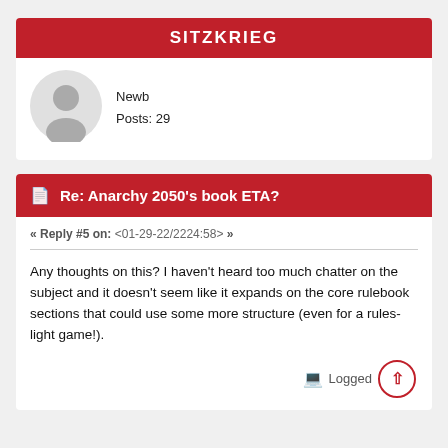SITZKRIEG
Newb
Posts: 29
Re: Anarchy 2050's book ETA?
« Reply #5 on: <01-29-22/2224:58> »
Any thoughts on this?  I haven't heard too much chatter on the subject and it doesn't seem like it expands on the core rulebook sections that could use some more structure (even for a rules-light game!).
Logged